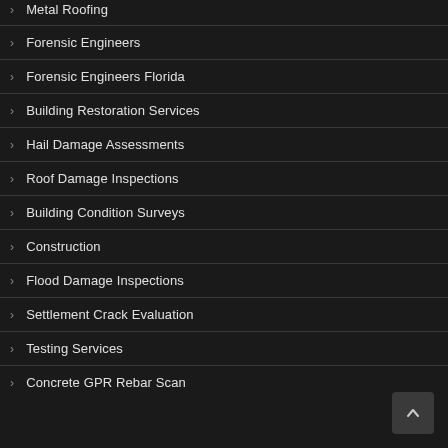Metal Roofing
Forensic Engineers
Forensic Engineers Florida
Building Restoration Services
Hail Damage Assessments
Roof Damage Inspections
Building Condition Surveys
Construction
Flood Damage Inspections
Settlement Crack Evaluation
Testing Services
Concrete GPR Rebar Scan